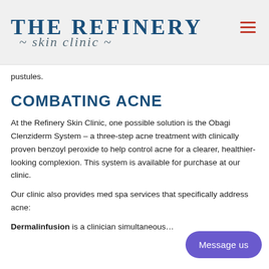THE REFINERY skin clinic
pustules.
COMBATING ACNE
At the Refinery Skin Clinic, one possible solution is the Obagi Clenziderm System – a three-step acne treatment with clinically proven benzoyl peroxide to help control acne for a clearer, healthier-looking complexion. This system is available for purchase at our clinic.
Our clinic also provides med spa services that specifically address acne:
Dermalinfusion is a clinician simultaneous…